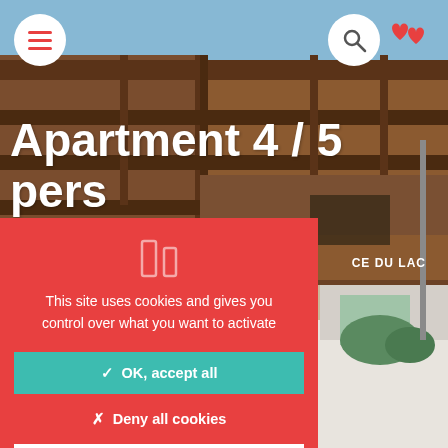[Figure (screenshot): Background photo of a wooden alpine apartment building with blue sky, taken from below looking up at balconies and facade.]
Apartment 4 / 5 pers
DU LAC
CE DU LAC
[Figure (infographic): Cookie consent modal overlay on red background with cookie icon, descriptive text, and three buttons: OK accept all, Deny all cookies, Personalize.]
This site uses cookies and gives you control over what you want to activate
✓  OK, accept all
✗  Deny all cookies
Personalize